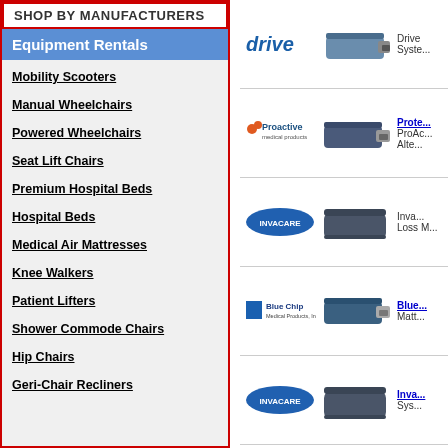SHOP BY MANUFACTURERS
Equipment Rentals
Mobility Scooters
Manual Wheelchairs
Powered Wheelchairs
Seat Lift Chairs
Premium Hospital Beds
Hospital Beds
Medical Air Mattresses
Knee Walkers
Patient Lifters
Shower Commode Chairs
Hip Chairs
Geri-Chair Recliners
[Figure (logo): Drive Medical logo with mattress product image]
Drive Syste...
[Figure (logo): Proactive Medical Products logo with air mattress image]
Prote... ProAc... Alte...
[Figure (logo): Invacare logo with foam mattress image]
Inva... Loss M...
[Figure (logo): Blue Chip Medical Products logo with air mattress]
Blue... Matt...
[Figure (logo): Invacare logo with mattress system image]
Inva... Sys...